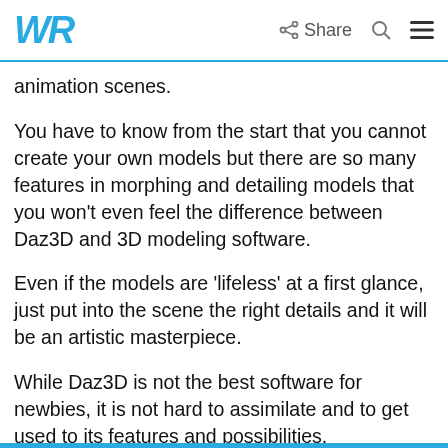WR Share
animation scenes.
You have to know from the start that you cannot create your own models but there are so many features in morphing and detailing models that you won't even feel the difference between Daz3D and 3D modeling software.
Even if the models are 'lifeless' at a first glance, just put into the scene the right details and it will be an artistic masterpiece.
While Daz3D is not the best software for newbies, it is not hard to assimilate and to get used to its features and possibilities.
Besides, you can find a bunch of tutorials on